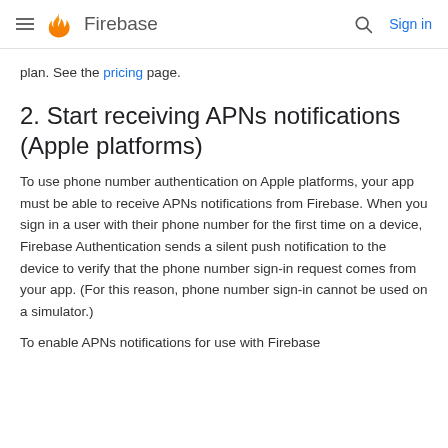Firebase
plan. See the pricing page.
2. Start receiving APNs notifications (Apple platforms)
To use phone number authentication on Apple platforms, your app must be able to receive APNs notifications from Firebase. When you sign in a user with their phone number for the first time on a device, Firebase Authentication sends a silent push notification to the device to verify that the phone number sign-in request comes from your app. (For this reason, phone number sign-in cannot be used on a simulator.)
To enable APNs notifications for use with Firebase